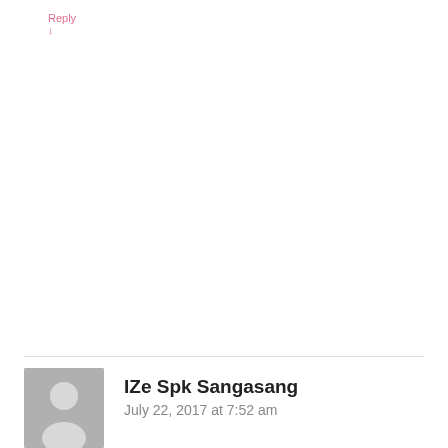Reply ↓
IZe Spk Sangasang
July 22, 2017 at 7:52 am